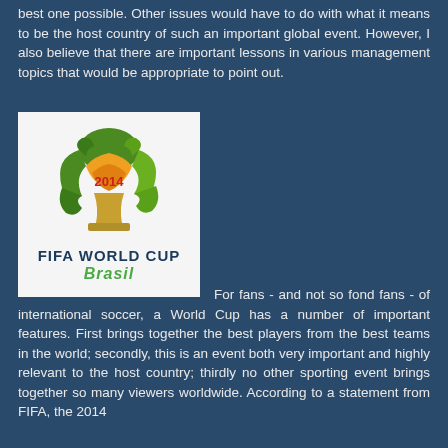best one possible. Other issues would have to do with what it means to be the host country of such an important global event. However, I also believe that there are important lessons in various management topics that would be appropriate to point out.
[Figure (logo): FIFA World Cup Brasil 2014 official logo featuring a stylized trophy made of hands in green and yellow/orange colors with '2014' in red text]
For fans - and not so fond fans - of international soccer, a World Cup has a number of important features. First brings together the best players from the best teams in the world; secondly, this is an event both very important and highly relevant to the host country; thirdly no other sporting event brings together so many viewers worldwide. According to a statement from FIFA, the 2014